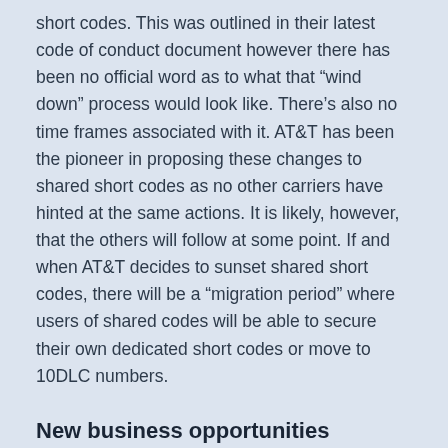short codes. This was outlined in their latest code of conduct document however there has been no official word as to what that “wind down” process would look like. There’s also no time frames associated with it. AT&T has been the pioneer in proposing these changes to shared short codes as no other carriers have hinted at the same actions. It is likely, however, that the others will follow at some point. If and when AT&T decides to sunset shared short codes, there will be a “migration period” where users of shared codes will be able to secure their own dedicated short codes or move to 10DLC numbers.
New business opportunities
The cellular carriers are in the business of making